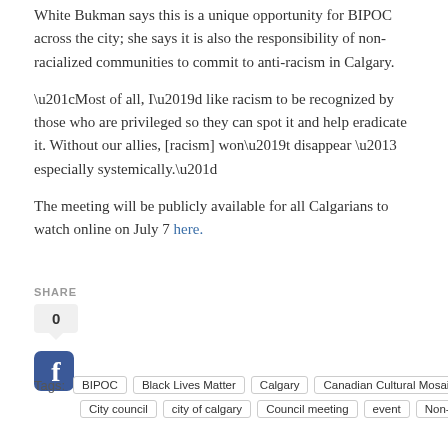White Bukman says this is a unique opportunity for BIPOC across the city; she says it is also the responsibility of non-racialized communities to commit to anti-racism in Calgary.
“Most of all, I’d like racism to be recognized by those who are privileged so they can spot it and help eradicate it. Without our allies, [racism] won’t disappear – especially systemically.”
The meeting will be publicly available for all Calgarians to watch online on July 7 here.
SHARE
[Figure (other): Facebook share button with count 0]
Tags: BIPOC  Black Lives Matter  Calgary  Canadian Cultural Mosaic Foundation  City council  city of calgary  Council meeting  event  Non-profit